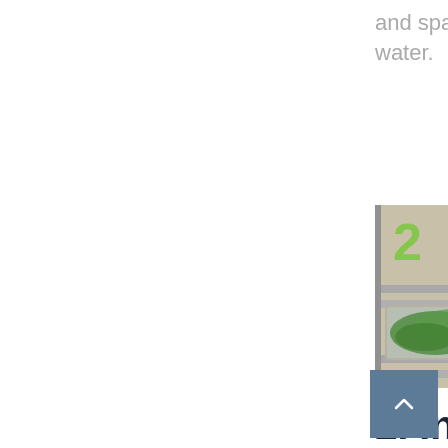and sparkling water.
[Figure (photo): Hand reaching into a refrigerator drawer/shelf, with food items including what appears to be produce and a bowl visible. A green number 2 is visible in the upper left corner of the image.]
2. Invest in a Clever Fridge
Appliance manufacturers are developing fridges with technology to